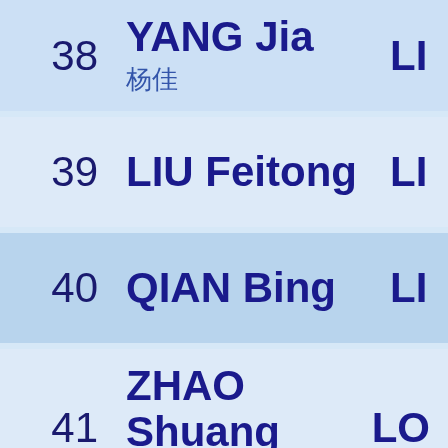38 YANG Jia 杨佳 LI
39 LIU Feitong LI
40 QIAN Bing LI
41 ZHAO Shuang 赵爽 LO
42 LYU Bing 吕冰 LO